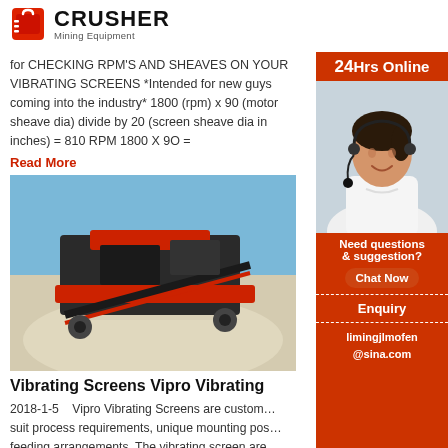[Figure (logo): Crusher Mining Equipment logo with red shopping bag icon and bold black CRUSHER text]
for CHECKING RPM'S AND SHEAVES ON YOUR VIBRATING SCREENS *Intended for new guys coming into the industry* 1800 (rpm) x 90 (motor sheave dia) divide by 20 (screen sheave dia in inches) = 810 RPM 1800 X 9O =
Read More
[Figure (photo): Outdoor photo of vibrating screen mining equipment with red and black machinery against blue sky and white sand pile]
Vibrating Screens Vipro Vibrating
2018-1-5   Vipro Vibrating Screens are custom… suit process requirements, unique mounting pos… feeding arrangements. The vibrating screen are… design and driven by twin or multiple Venanzetti… motors or Venanzetti exciter
Read More
[Figure (infographic): 24Hrs Online sidebar with customer service representative photo, Need questions & suggestion text, Chat Now button, Enquiry section, limingjlmofen@sina.com email]